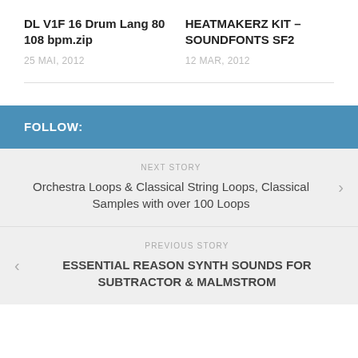DL V1F 16 Drum Lang 80 108 bpm.zip
25 MAI, 2012
HEATMAKERZ KIT – SOUNDFONTS SF2
12 MAR, 2012
FOLLOW:
NEXT STORY
Orchestra Loops & Classical String Loops, Classical Samples with over 100 Loops
PREVIOUS STORY
ESSENTIAL REASON SYNTH SOUNDS FOR SUBTRACTOR & MALMSTROM